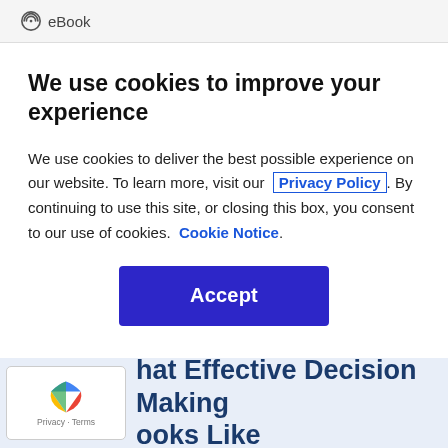eBook
We use cookies to improve your experience
We use cookies to deliver the best possible experience on our website. To learn more, visit our  Privacy Policy. By continuing to use this site, or closing this box, you consent to our use of cookies.  Cookie Notice.
[Figure (other): Accept button — dark blue rectangular button with white bold text 'Accept']
hat Effective Decision Making ooks Like